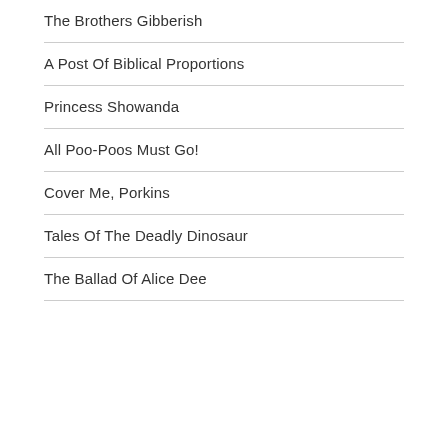The Brothers Gibberish
A Post Of Biblical Proportions
Princess Showanda
All Poo-Poos Must Go!
Cover Me, Porkins
Tales Of The Deadly Dinosaur
The Ballad Of Alice Dee